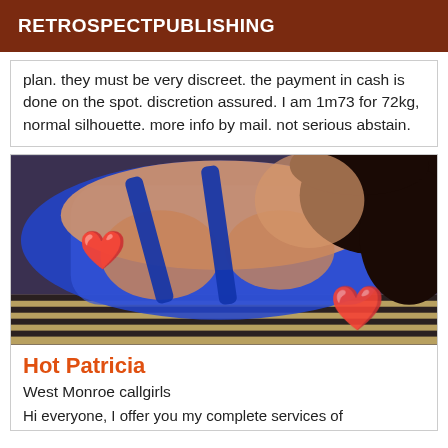RETROSPECTPUBLISHING
plan. they must be very discreet. the payment in cash is done on the spot. discretion assured. I am 1m73 for 72kg, normal silhouette. more info by mail. not serious abstain.
[Figure (photo): Photo of a woman lying down wearing blue lingerie with heart emojis overlaid]
Hot Patricia
West Monroe callgirls
Hi everyone, I offer you my complete services of